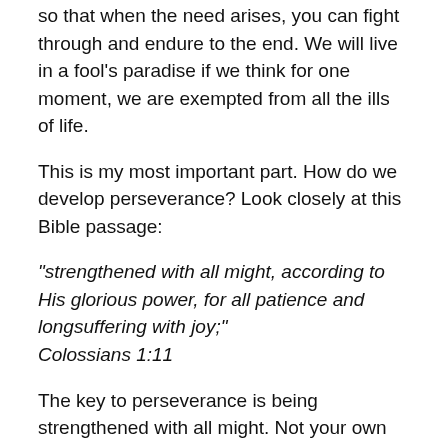so that when the need arises, you can fight through and endure to the end. We will live in a fool's paradise if we think for one moment, we are exempted from all the ills of life.
This is my most important part. How do we develop perseverance? Look closely at this Bible passage:
“strengthened with all might, according to His glorious power, for all patience and longsuffering with joy;” Colossians 1:11
The key to perseverance is being strengthened with all might. Not your own might, but that of God’s. I just quoted an except of an Apostle’s prayer for his congregants. Take note that when you are filled with God’s might, it helps you to be patient [persevere] and develop long suffering with joy. You have joy in a problem not because you enjoy pain